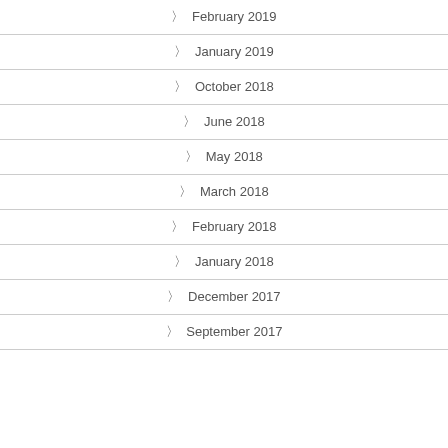) February 2019
) January 2019
) October 2018
) June 2018
) May 2018
) March 2018
) February 2018
) January 2018
) December 2017
) September 2017